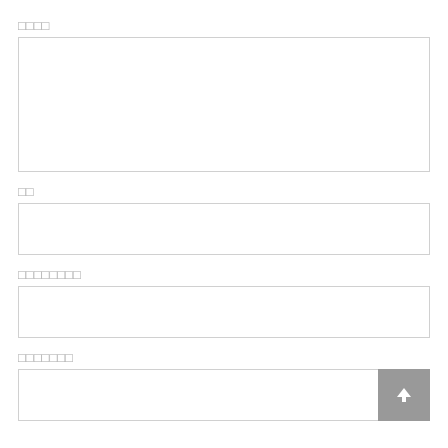□□□□
[Figure (other): Large empty input text area box with light border]
□□
[Figure (other): Short empty input text area box with light border]
□□□□□□□□
[Figure (other): Short empty input text area box with light border]
□□□□□□□
[Figure (other): Short empty input text area box with light border and upload button at bottom right]